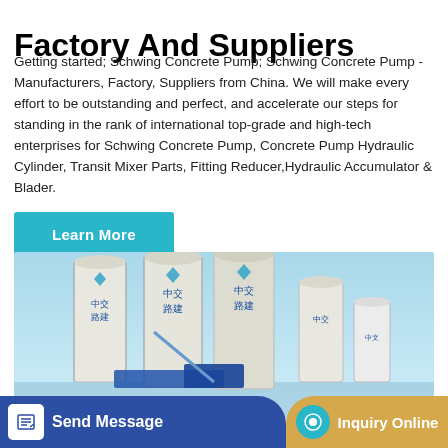Factory And Suppliers
Getting started; Schwing Concrete Pump; Schwing Concrete Pump - Manufacturers, Factory, Suppliers from China. We will make every effort to be outstanding and perfect, and accelerate our steps for standing in the rank of international top-grade and high-tech enterprises for Schwing Concrete Pump, Concrete Pump Hydraulic Cylinder, Transit Mixer Parts, Fitting Reducer,Hydraulic Accumulator & Blader.
Learn More
[Figure (photo): Industrial concrete mixing plant with tall white cylindrical silos branded with Chinese characters 中交路建, set against a blue sky. Multiple silos of varying heights with scaffolding, and blue machinery at the base.]
Send Message
Inquiry Online